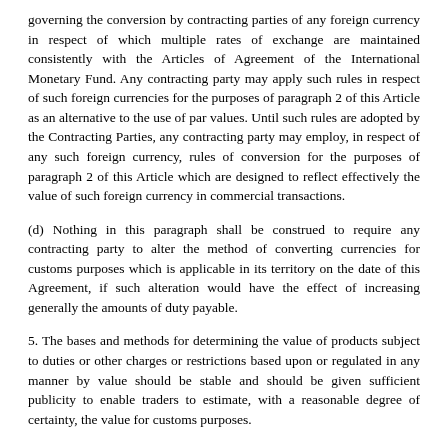governing the conversion by contracting parties of any foreign currency in respect of which multiple rates of exchange are maintained consistently with the Articles of Agreement of the International Monetary Fund. Any contracting party may apply such rules in respect of such foreign currencies for the purposes of paragraph 2 of this Article as an alternative to the use of par values. Until such rules are adopted by the Contracting Parties, any contracting party may employ, in respect of any such foreign currency, rules of conversion for the purposes of paragraph 2 of this Article which are designed to reflect effectively the value of such foreign currency in commercial transactions.
(d) Nothing in this paragraph shall be construed to require any contracting party to alter the method of converting currencies for customs purposes which is applicable in its territory on the date of this Agreement, if such alteration would have the effect of increasing generally the amounts of duty payable.
5. The bases and methods for determining the value of products subject to duties or other charges or restrictions based upon or regulated in any manner by value should be stable and should be given sufficient publicity to enable traders to estimate, with a reasonable degree of certainty, the value for customs purposes.